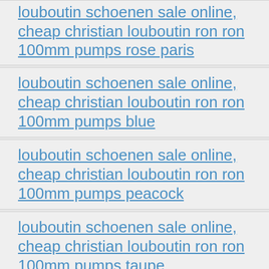louboutin schoenen sale online, cheap christian louboutin ron ron 100mm pumps rose paris
louboutin schoenen sale online, cheap christian louboutin ron ron 100mm pumps blue
louboutin schoenen sale online, cheap christian louboutin ron ron 100mm pumps peacock
louboutin schoenen sale online, cheap christian louboutin ron ron 100mm pumps taupe
louboutin schoenen sale online, cheap christian louboutin ron ron 100mm pumps caraibes
louboutin schoenen sale online, cheap christian louboutin ron ron